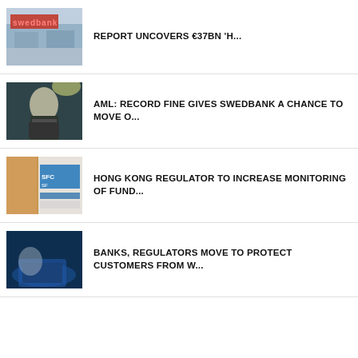[Figure (photo): Swedbank building exterior with red logo sign]
REPORT UNCOVERS €37BN 'H...
[Figure (photo): Man in suit speaking at podium with spotlight behind]
AML: RECORD FINE GIVES SWEDBANK A CHANCE TO MOVE O...
[Figure (photo): Hong Kong SFC regulator office exterior signage]
HONG KONG REGULATOR TO INCREASE MONITORING OF FUND...
[Figure (photo): Person using laptop in dark environment, cybersecurity theme]
BANKS, REGULATORS MOVE TO PROTECT CUSTOMERS FROM W...